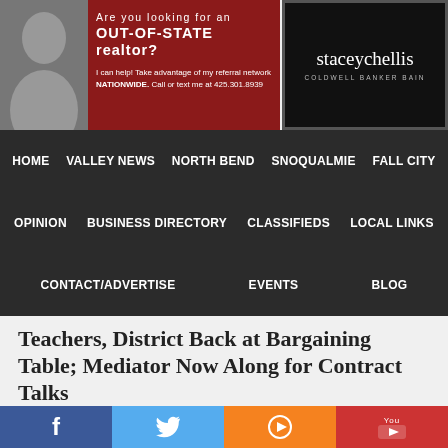[Figure (infographic): Advertisement banner for out-of-state realtor with woman photo on left, red background with text: Are you looking for an OUT-OF-STATE realtor? I can help! Take advantage of my referral network NATIONWIDE. Call or text me at 425.301.8939]
[Figure (logo): Staceychellis Coldwell Banker Bain logo in white text on black background with border]
HOME  VALLEY NEWS  NORTH BEND  SNOQUALMIE  FALL CITY
OPINION  BUSINESS DIRECTORY  CLASSIFIEDS  LOCAL LINKS
CONTACT/ADVERTISE  EVENTS  BLOG
Teachers, District Back at Bargaining Table; Mediator Now Along for Contract Talks
August 29, 2013 by Danna McCall
With Snoqualmie Valley schools scheduled to begin in six short days and no contract in place for its teachers, negotiators for both the Snoqualmie Valley School District (SVSD)  and the Snoqualmie Valley Education Association (SVEA) Union are back at the bargaining table.